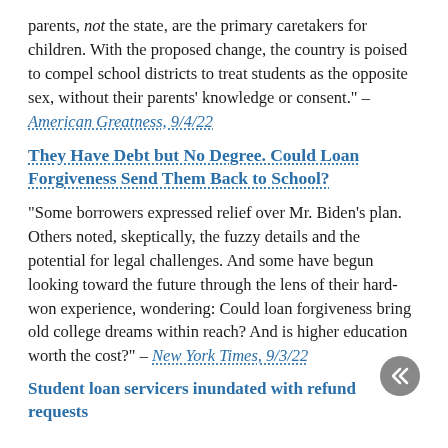parents, not the state, are the primary caretakers for children. With the proposed change, the country is poised to compel school districts to treat students as the opposite sex, without their parents' knowledge or consent." – American Greatness, 9/4/22
They Have Debt but No Degree. Could Loan Forgiveness Send Them Back to School?
"Some borrowers expressed relief over Mr. Biden's plan. Others noted, skeptically, the fuzzy details and the potential for legal challenges. And some have begun looking toward the future through the lens of their hard-won experience, wondering: Could loan forgiveness bring old college dreams within reach? And is higher education worth the cost?" – New York Times, 9/3/22
Student loan servicers inundated with refund requests